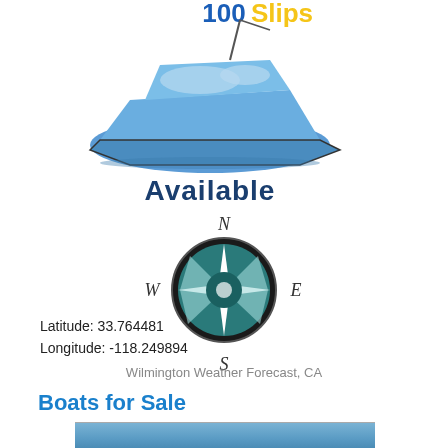[Figure (illustration): Blue yacht/motor boat illustration with '100 Slips' text at top in blue and yellow, and 'Available' text below in dark blue bold]
[Figure (illustration): Compass rose illustration with N, S, E, W labels in decorative script on dark circular background with teal/white star pattern]
Latitude: 33.764481
Longitude: -118.249894
Wilmington Weather Forecast, CA
Boats for Sale
[Figure (photo): Partial photo of a boat on water, blue tones, cropped at bottom of page]